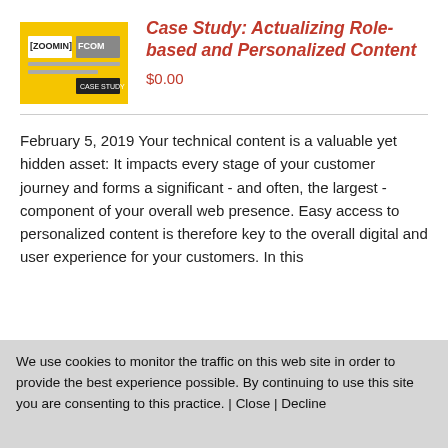[Figure (logo): Book cover with yellow background, showing 'ZOOMIN' and 'FCOM' logos with small text below]
Case Study: Actualizing Role-based and Personalized Content
$0.00
February 5, 2019 Your technical content is a valuable yet hidden asset: It impacts every stage of your customer journey and forms a significant - and often, the largest - component of your overall web presence. Easy access to personalized content is therefore key to the overall digital and user experience for your customers. In this
We use cookies to monitor the traffic on this web site in order to provide the best experience possible. By continuing to use this site you are consenting to this practice. | Close | Decline